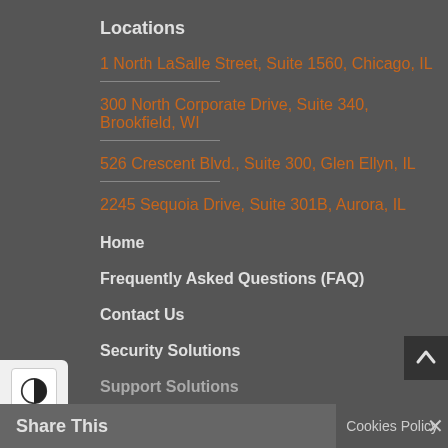Locations
1 North LaSalle Street, Suite 1560, Chicago, IL
300 North Corporate Drive, Suite 340, Brookfield, WI
526 Crescent Blvd., Suite 300, Glen Ellyn, IL
2245 Sequoia Drive, Suite 301B, Aurora, IL
Home
Frequently Asked Questions (FAQ)
Contact Us
Security Solutions
Support Solutions
IT Strategy
Share This
Cookies Policy
✕